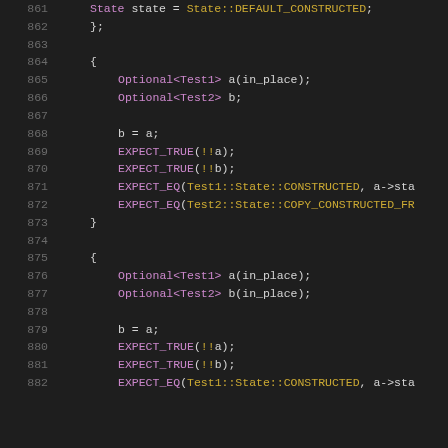Code listing lines 861-882, C++ source code showing Optional<Test1> and Optional<Test2> assignments with EXPECT_TRUE and EXPECT_EQ assertions